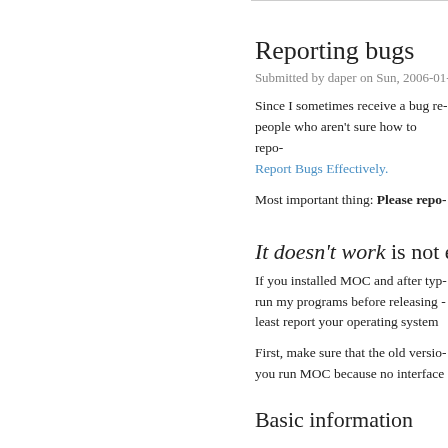Reporting bugs
Submitted by daper on Sun, 2006-01-
Since I sometimes receive a bug re- people who aren't sure how to repo- Report Bugs Effectively.
Most important thing: Please repo-
It doesn't work is not eno-
If you installed MOC and after typ- run my programs before releasing - least report your operating system
First, make sure that the old versio- you run MOC because no interface
Basic information